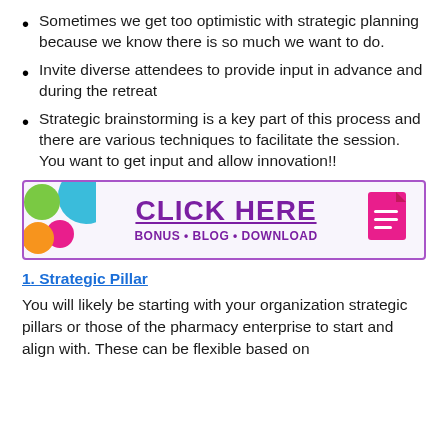Sometimes we get too optimistic with strategic planning because we know there is so much we want to do.
Invite diverse attendees to provide input in advance and during the retreat
Strategic brainstorming is a key part of this process and there are various techniques to facilitate the session. You want to get input and allow innovation!!
[Figure (infographic): Banner with colorful circles on the left, bold purple 'CLICK HERE' text with underline in center, 'BONUS • BLOG • DOWNLOAD' below, pink document icon on right, purple border around banner.]
1. Strategic Pillar
You will likely be starting with your organization strategic pillars or those of the pharmacy enterprise to start and align with. These can be flexible based on